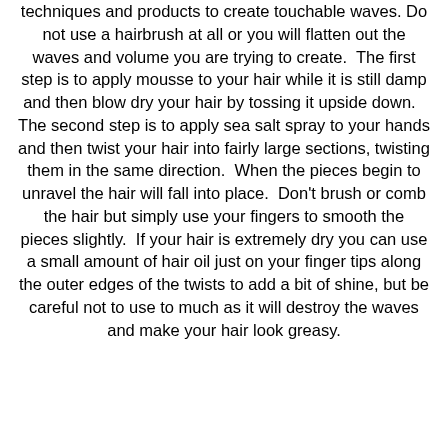techniques and products to create touchable waves. Do not use a hairbrush at all or you will flatten out the waves and volume you are trying to create. The first step is to apply mousse to your hair while it is still damp and then blow dry your hair by tossing it upside down. The second step is to apply sea salt spray to your hands and then twist your hair into fairly large sections, twisting them in the same direction. When the pieces begin to unravel the hair will fall into place. Don't brush or comb the hair but simply use your fingers to smooth the pieces slightly. If your hair is extremely dry you can use a small amount of hair oil just on your finger tips along the outer edges of the twists to add a bit of shine, but be careful not to use to much as it will destroy the waves and make your hair look greasy.